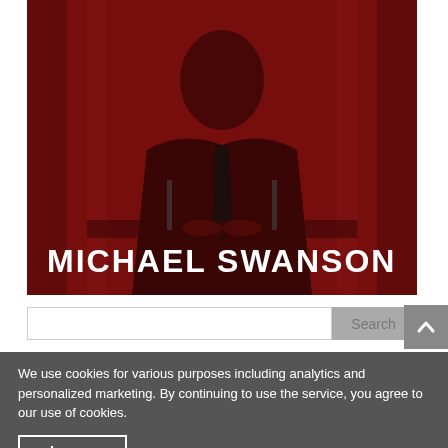[Figure (photo): Dark red-tinted photo of a man in a suit sitting at a desk with hands clasped, with 'MICHAEL SWANSON' text overlaid at the bottom]
Search
We use cookies for various purposes including analytics and personalized marketing. By continuing to use the service, you agree to our use of cookies.
I agree